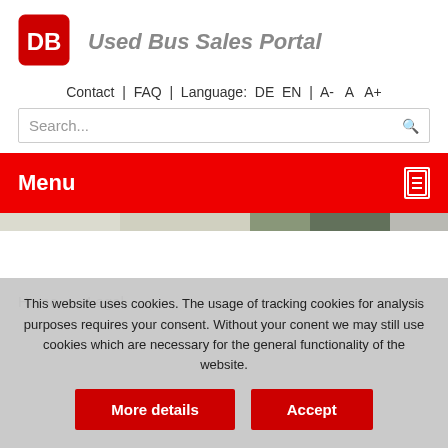[Figure (logo): DB Deutsche Bahn logo — red square with rounded corners, white 'DB' letters inside]
Used Bus Sales Portal
Contact | FAQ | Language: DE EN | A- A A+
Search...
Menu
[Figure (photo): Partial banner image strip showing green and grey tones]
Home ▸ Legal
This website uses cookies. The usage of tracking cookies for analysis purposes requires your consent. Without your conent we may still use cookies which are necessary for the general functionality of the website.
More details
Accept